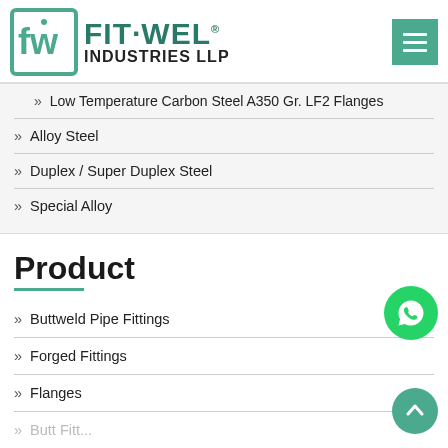[Figure (logo): Fit-Wel Industries LLP logo with teal square icon showing 'fw' monogram and teal text]
» Low Temperature Carbon Steel A350 Gr. LF2 Flanges
» Alloy Steel
» Duplex / Super Duplex Steel
» Special Alloy
Product
» Buttweld Pipe Fittings
» Forged Fittings
» Flanges